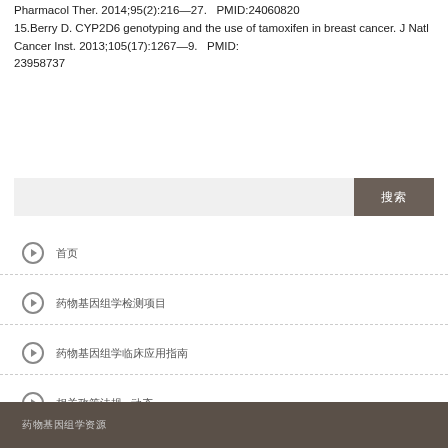Pharmacol Ther. 2014;95(2):216—27. PMID:24060820
15.Berry D. CYP2D6 genotyping and the use of tamoxifen in breast cancer. J Natl Cancer Inst. 2013;105(17):1267—9. PMID:23958737
[Figure (screenshot): Search bar with input field and a dark brown search button with Chinese characters]
首页
药物基因组学检测项目
药物基因组学临床应用指南
相关政策法规   动态
患者教育资源
药物基因组学资源